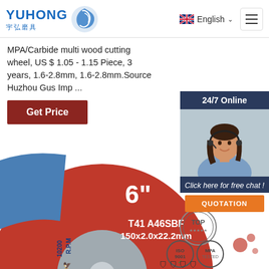YUHONG 宇弘磨具 — English navigation header with menu button
MPA/Carbide multi wood cutting wheel, US $ 1.05 - 1.15 Piece, 3 years, 1.6-2.8mm, 1.6-2.8mm.Source Huzhou Gus Imp ...
Get Price
[Figure (photo): Customer service agent (woman with headset, smiling) with 24/7 Online label and chat widget overlay with QUOTATION button]
[Figure (photo): Red and blue 6-inch angle grinder cutting wheel disc with labels: 6", T41 A46SBF, 150x2.0x22.2mm, R.P.M 10200, ISO 9001 and MPA certification logos, TOP quality seal, safety icons]